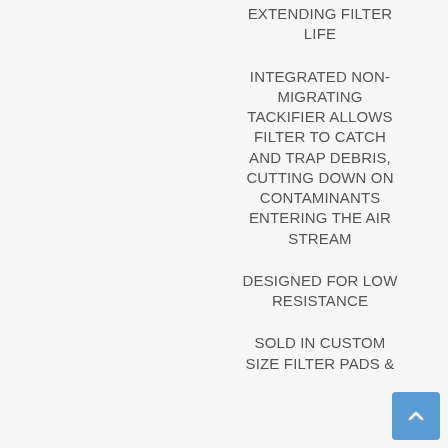EXTENDING FILTER LIFE
INTEGRATED NON-MIGRATING TACKIFIER ALLOWS FILTER TO CATCH AND TRAP DEBRIS, CUTTING DOWN ON CONTAMINANTS ENTERING THE AIR STREAM
DESIGNED FOR LOW RESISTANCE
SOLD IN CUSTOM SIZE FILTER PADS &